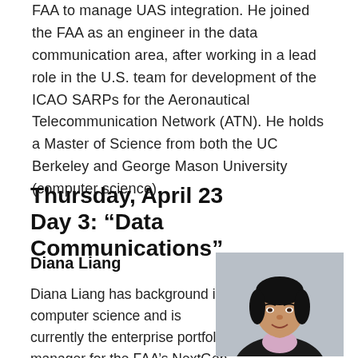FAA to manage UAS integration. He joined the FAA as an engineer in the data communication area, after working in a lead role in the U.S. team for development of the ICAO SARPs for the Aeronautical Telecommunication Network (ATN). He holds a Master of Science from both the UC Berkeley and George Mason University (computer science).
Thursday, April 23
Day 3: “Data Communications”
Diana Liang
Diana Liang has background in computer science and is currently the enterprise portfolio manager for the FAA’s NextGen
[Figure (photo): Headshot photo of Diana Liang, a woman with black hair, wearing a dark jacket and light pink shirt, smiling against a light grey background.]